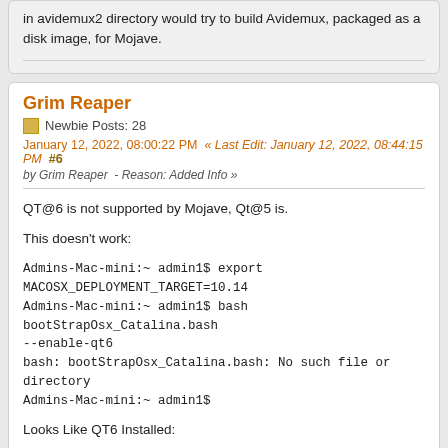in avidemux2 directory would try to build Avidemux, packaged as a disk image, for Mojave.
Grim Reaper
Newbie Posts: 28
January 12, 2022, 08:00:22 PM  « Last Edit: January 12, 2022, 08:44:15 PM  #6 by Grim Reaper  - Reason: Added Info »
QT@6 is not supported by Mojave, Qt@5 is.

This doesn't work:

Admins-Mac-mini:~ admin1$ export MACOSX_DEPLOYMENT_TARGET=10.14
Admins-Mac-mini:~ admin1$ bash bootStrapOsx_Catalina.bash --enable-qt6
bash: bootStrapOsx_Catalina.bash: No such file or directory
Admins-Mac-mini:~ admin1$

Looks Like QT6 Installed:

/***********************************************...